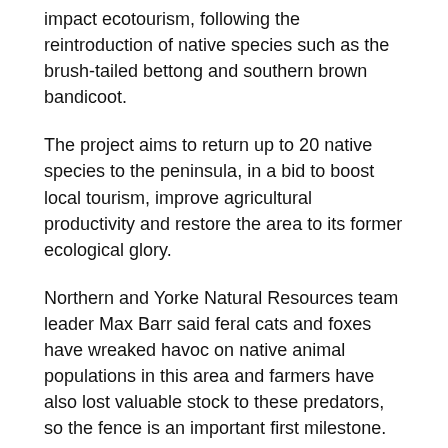impact ecotourism, following the reintroduction of native species such as the brush-tailed bettong and southern brown bandicoot.
The project aims to return up to 20 native species to the peninsula, in a bid to boost local tourism, improve agricultural productivity and restore the area to its former ecological glory.
Northern and Yorke Natural Resources team leader Max Barr said feral cats and foxes have wreaked havoc on native animal populations in this area and farmers have also lost valuable stock to these predators, so the fence is an important first milestone.
“We can't wind back the clock to 200 years ago, but we can try to restore key species to the system and create a landscape that balances healthy wildlife populations with prosperous farmland and tourism,” Mr Barr said.
At least 27 Australian mammal species are believed to have